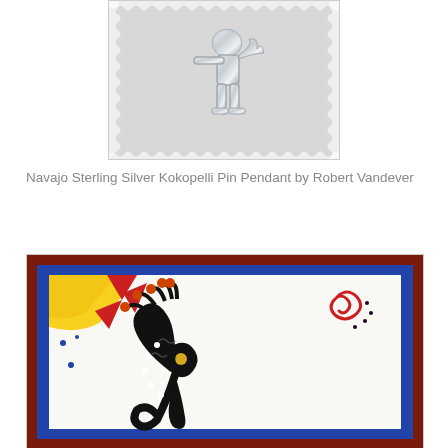[Figure (photo): Close-up photo of a sterling silver Kokopelli pin pendant jewelry piece on a light gray background with decorative torn-paper border effect.]
Navajo Sterling Silver Kokopelli Pin Pendant by Robert Vandever
[Figure (photo): Photo of a tile or card artwork featuring a stylized Kokopelli figure in black with orange-tipped feathers, a yellow sun with red triangles in upper left corner, a red spiral motif in upper right, all on white background with blue and dark red border.]